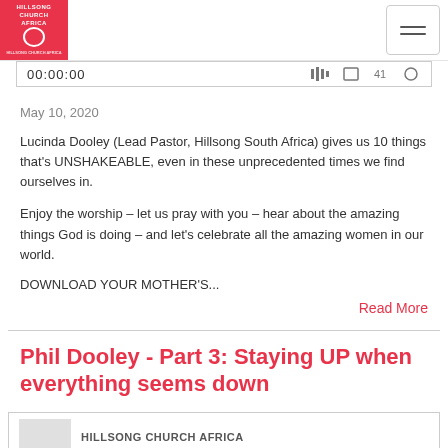HILLSONG CHURCH AFRICA logo and hamburger menu
[Figure (screenshot): Audio player bar showing time 00:00:00 and playback controls]
May 10, 2020
Lucinda Dooley (Lead Pastor, Hillsong South Africa) gives us 10 things that's UNSHAKEABLE, even in these unprecedented times we find ourselves in.
Enjoy the worship – let us pray with you – hear about the amazing things God is doing – and let's celebrate all the amazing women in our world.
DOWNLOAD YOUR MOTHER'S...
Read More
Phil Dooley - Part 3: Staying UP when everything seems down
HILLSONG CHURCH AFRICA